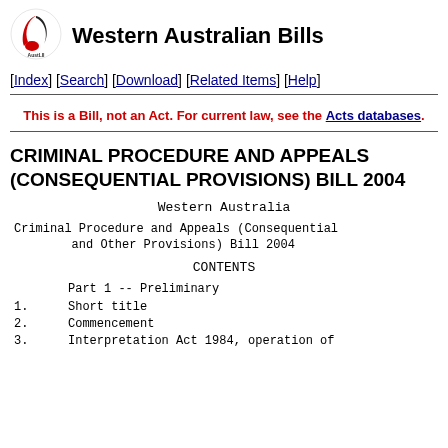[Figure (logo): AustLII logo — stylized bird/flag mark in red, black and white with 'AustLII' text]
Western Australian Bills
[Index] [Search] [Download] [Related Items] [Help]
This is a Bill, not an Act. For current law, see the Acts databases.
CRIMINAL PROCEDURE AND APPEALS (CONSEQUENTIAL PROVISIONS) BILL 2004
Western Australia
Criminal Procedure and Appeals (Consequential and Other Provisions) Bill 2004
CONTENTS
Part 1 -- Preliminary
1.    Short title
2.    Commencement
3.    Interpretation Act 1984, operation of